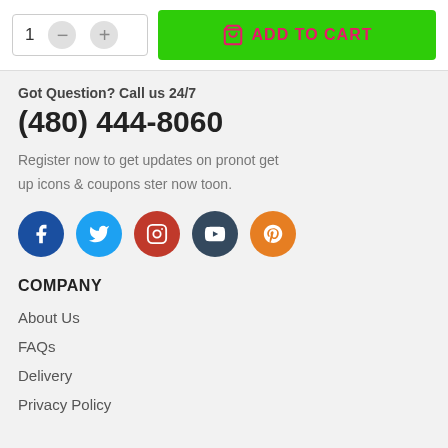[Figure (screenshot): Add to cart UI with quantity selector (showing 1, minus and plus buttons) and a bright green ADD TO CART button with shopping bag icon]
Got Question? Call us 24/7
(480) 444-8060
Register now to get updates on pronot get up icons & coupons ster now toon.
[Figure (illustration): Row of 5 social media icon circles: Facebook (dark blue), Twitter (light blue), Instagram (red), YouTube (dark blue-grey), Pinterest (orange)]
COMPANY
About Us
FAQs
Delivery
Privacy Policy